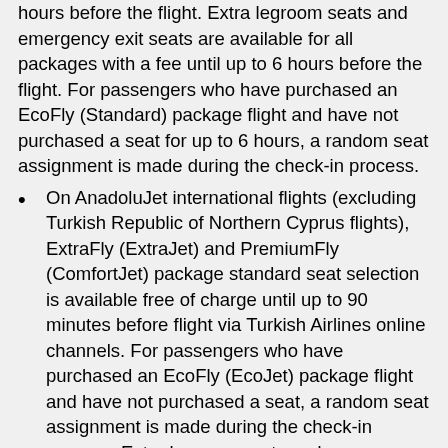hours before the flight. Extra legroom seats and emergency exit seats are available for all packages with a fee until up to 6 hours before the flight. For passengers who have purchased an EcoFly (Standard) package flight and have not purchased a seat for up to 6 hours, a random seat assignment is made during the check-in process.
On AnadoluJet international flights (excluding Turkish Republic of Northern Cyprus flights), ExtraFly (ExtraJet) and PremiumFly (ComfortJet) package standard seat selection is available free of charge until up to 90 minutes before flight via Turkish Airlines online channels. For passengers who have purchased an EcoFly (EcoJet) package flight and have not purchased a seat, a random seat assignment is made during the check-in process. Extra legroom seats and emergency exit seats are available for ExtraFly (ExtraJet) packages with a fee until up to 6 hours before the flight and for PremiumFly (ComfortJet) packages with a fee until up to 90 minutes before the flight.
On Turkish Airlines international and domestic flights, the Business Class seat selection is free of charge until the check-in duration is finished.